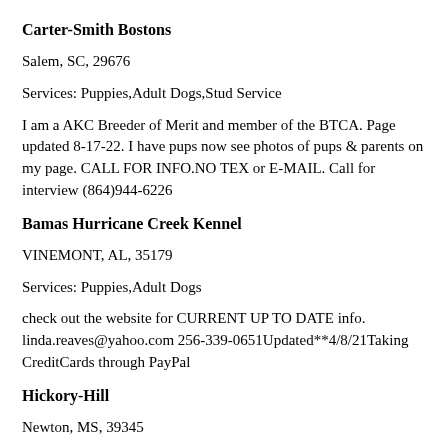Carter-Smith Bostons
Salem, SC, 29676
Services: Puppies,Adult Dogs,Stud Service
I am a AKC Breeder of Merit and member of the BTCA. Page updated 8-17-22. I have pups now see photos of pups & parents on my page. CALL FOR INFO.NO TEX or E-MAIL. Call for interview (864)944-6226
Bamas Hurricane Creek Kennel
VINEMONT, AL, 35179
Services: Puppies,Adult Dogs
check out the website for CURRENT UP TO DATE info. linda.reaves@yahoo.com 256-339-0651Updated**4/8/21Taking CreditCards through PayPal
Hickory-Hill
Newton, MS, 39345